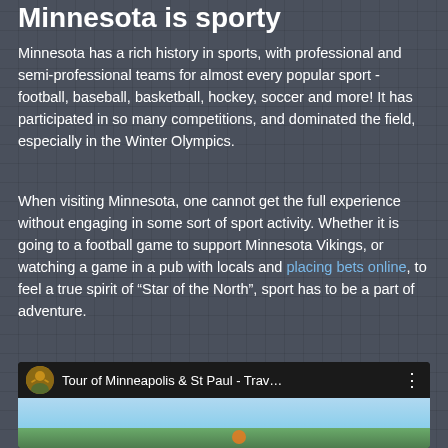Minnesota is sporty
Minnesota has a rich history in sports, with professional and semi-professional teams for almost every popular sport - football, baseball, basketball, hockey, soccer and more! It has participated in so many competitions, and dominated the field, especially in the Winter Olympics.
When visiting Minnesota, one cannot get the full experience without engaging in some sort of sport activity. Whether it is going to a football game to support Minnesota Vikings, or watching a game in a pub with locals and placing bets online, to feel a true spirit of “Star of the North”, sport has to be a part of adventure.
[Figure (screenshot): Embedded YouTube video thumbnail showing 'Tour of Minneapolis & St Paul - Trav...' with a circular avatar of a person outdoors, video title text, a three-dot menu icon, and a scenic landscape thumbnail with sky and ground.]